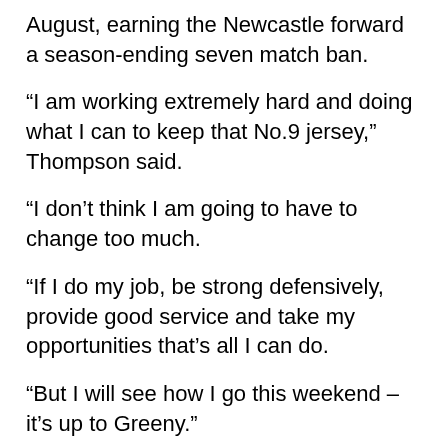August, earning the Newcastle forward a season-ending seven match ban.
“I am working extremely hard and doing what I can to keep that No.9 jersey,” Thompson said.
“I don’t think I am going to have to change too much.
“If I do my job, be strong defensively, provide good service and take my opportunities that’s all I can do.
“But I will see how I go this weekend – it’s up to Greeny.”
Thompson appears to have the early jump on the No.9 jersey with the man who completed the season as Cowboys hooker Rory Kostjasyn failing to back up in the Toowoomba trial after their Auckland Nines triumph.
But that was news to Thompson who bounced around in the halves since his 2009 NRL debut before staking a convincing claim for hooker.